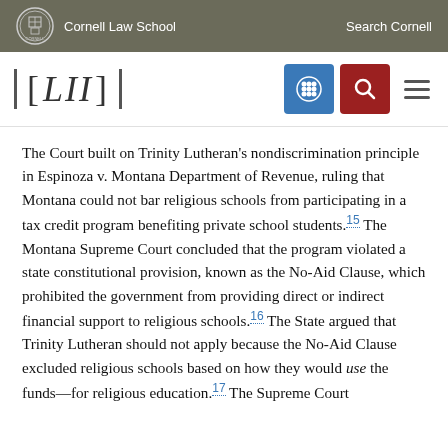Cornell Law School   Search Cornell
[Figure (logo): Cornell Law School LII logo with navigation icons including a grid icon (blue), search icon (red), and hamburger menu]
The Court built on Trinity Lutheran's nondiscrimination principle in Espinoza v. Montana Department of Revenue, ruling that Montana could not bar religious schools from participating in a tax credit program benefiting private school students.15 The Montana Supreme Court concluded that the program violated a state constitutional provision, known as the No-Aid Clause, which prohibited the government from providing direct or indirect financial support to religious schools.16 The State argued that Trinity Lutheran should not apply because the No-Aid Clause excluded religious schools based on how they would use the funds—for religious education.17 The Supreme Court